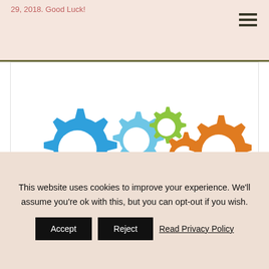29, 2018. Good Luck!
[Figure (illustration): Five colorful interlocking gear icons: one large blue gear on the left, one medium light-blue gear, one small lime-green gear, one medium dark-orange/amber gear, and one large orange gear on the right.]
Access Denied
The location (IP Address) you are using is from a
This website uses cookies to improve your experience. We'll assume you're ok with this, but you can opt-out if you wish.
Accept
Reject
Read Privacy Policy